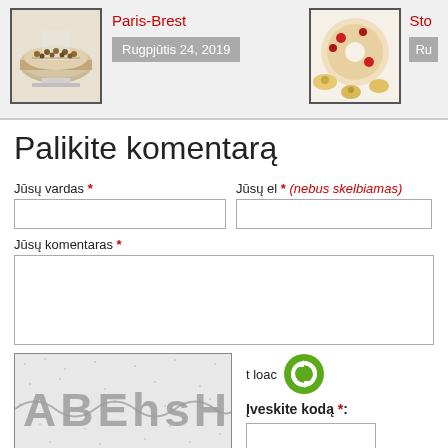[Figure (photo): Food blog article card with image of Paris-Brest cake, title 'Paris-Brest' in red, and date 'Rugpjūtis 24, 2019' on grey background]
[Figure (photo): Partially visible food blog article card with image of food dish and partial title 'Sto...' in red]
Palikite komentarą
Jūsų vardas *
Jūsų el * (nebus skelbiamas)
Jūsų komentaras *
[Figure (other): CAPTCHA image showing letters ABEhsH on textured background]
t load (reload CAPTCHA icon)
Įveskite kodą *: